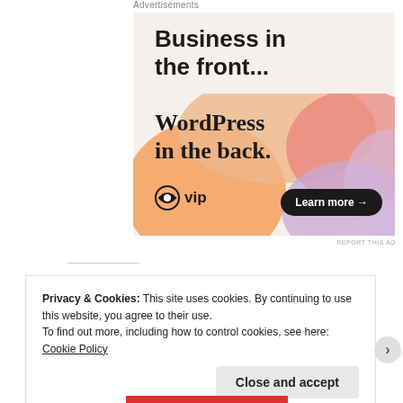Advertisements
[Figure (illustration): WordPress VIP advertisement. Top half shows 'Business in the front...' text on a light beige background. Bottom half shows a colorful gradient background with orange, pink, and lavender blobs. Text reads 'WordPress in the back.' with a WordPress VIP logo and 'Learn more →' button.]
REPORT THIS AD
Privacy & Cookies: This site uses cookies. By continuing to use this website, you agree to their use.
To find out more, including how to control cookies, see here: Cookie Policy
Close and accept